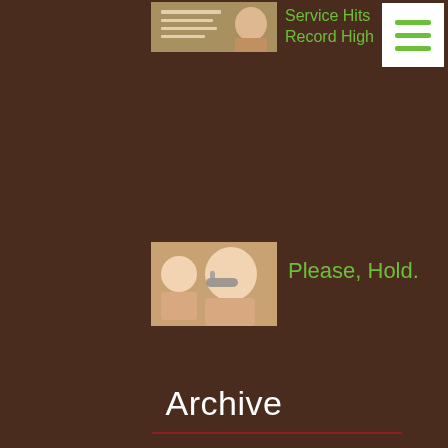[Figure (photo): Thumbnail image of a document/checklist with a hand]
Service Hits Record High
[Figure (other): Hamburger menu button with three green lines]
[Figure (photo): Thumbnail image of a smiling woman wearing a headset]
Please, Hold.
Archive
November 2015 (1)
September 2015 (1)
August 2015 (1)
July 2015 (2)
June 2015 (1)
May 2015 (2)
April 2015 (4)
March 2015 (4)
February 2015 (4)